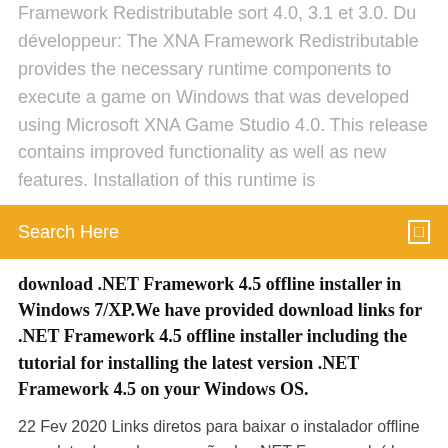Framework Redistributable sort 4.0, 3.1 et 3.0. Du développeur: The XNA Framework Redistributable provides the necessary runtime components to execute a game on Windows that was developed using Microsoft XNA Game Studio 4.0. This release contains improved functionality as well as new features. Installation of this runtime is
Search Here
download .NET Framework 4.5 offline installer in Windows 7/XP.We have provided download links for .NET Framework 4.5 offline installer including the tutorial for installing the latest version .NET Framework 4.5 on your Windows OS.
22 Fev 2020 Links diretos para baixar o instalador offline completo de qualquer versão do . NET Framework (da versão 1.0 até a versão 4.8). Essa download já foi acessado por 28600 pessoas na categoria Componentes e Drivers. Download do Microsoft .NET Framework 4.0.30319.1 e programas de